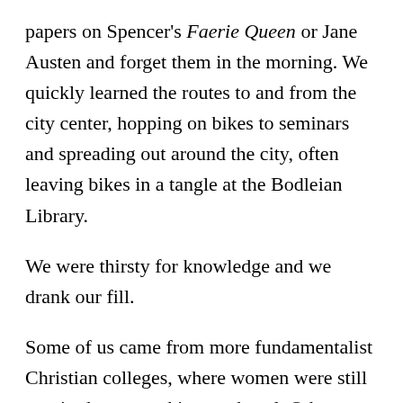papers on Spencer's Faerie Queen or Jane Austen and forget them in the morning. We quickly learned the routes to and from the city center, hopping on bikes to seminars and spreading out around the city, often leaving bikes in a tangle at the Bodleian Library.
We were thirsty for knowledge and we drank our fill.
Some of us came from more fundamentalist Christian colleges, where women were still required to wear skirts to chapel. Others, like me, came from classically evangelical colleges, where following rules made you holy. If we kept our doors open when our boyfriends visited, if we didn't skip out on chapel, if we got A's,